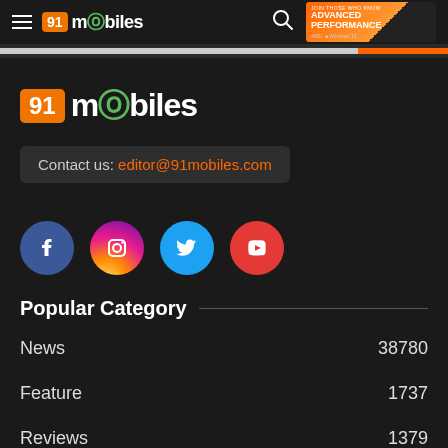91mobiles
[Figure (logo): 91mobiles logo - large version with orange box '91' and white text 'mobiles' with green power button O]
Contact us: editor@91mobiles.com
[Figure (infographic): Four social media icons: Facebook (blue circle with f), Instagram (gradient circle with camera), Twitter (light blue circle with bird), YouTube (red circle with play button)]
Popular Category
News 38780
Feature 1737
Reviews 1379
First impressions 761